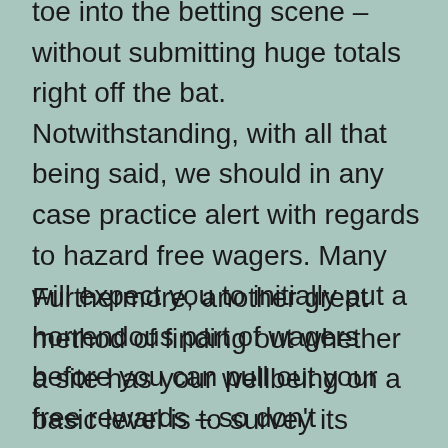toe into the betting scene – without submitting huge totals right off the bat. Notwithstanding, with all that being said, we should in any case practice alert with regards to hazard free wagers. Many will expect you to initially put a horrendous part of wagers before you can pull out your free rewards – so don't anticipate having the option to take your cash and flee.
Furthermore, another great method of finding out whether a site has your wellbeing on a basic level is to survey its client exchanging strategy. In the UK, to stay away from underage betting, a duplicate of your